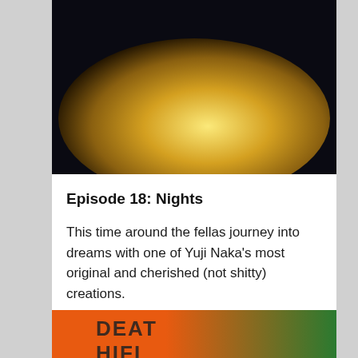[Figure (illustration): Animated character silhouetted against a large glowing moon on a dark background]
Episode 18: Nights
This time around the fellas journey into dreams with one of Yuji Naka's most original and cherished (not shitty) creations.
November 10, 2017 in Podcast.
[Figure (illustration): Colorful magazine or game cover art featuring the text DEATH HIFI with bold stylized lettering on orange and green background]